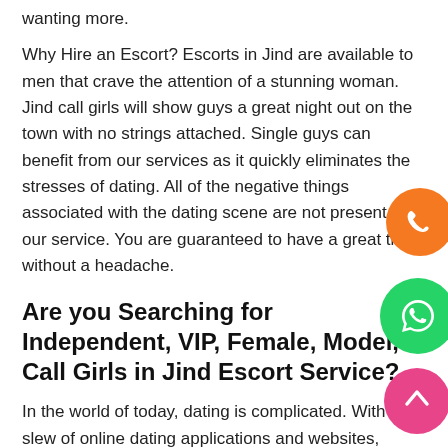wanting more.
Why Hire an Escort? Escorts in Jind are available to men that crave the attention of a stunning woman. Jind call girls will show guys a great night out on the town with no strings attached. Single guys can benefit from our services as it quickly eliminates the stresses of dating. All of the negative things associated with the dating scene are not present with our service. You are guaranteed to have a great time without a headache.
Are you Searching for Independent, VIP, Female, Model, Call Girls in Jind Escort Service?
In the world of today, dating is complicated. With a slew of online dating applications and websites, finding a suitable relationship has become more of a hassle than it is worth. you are bound to go through numerous bad dates before you ever get to one that you find even remotely enjoyable. Dating in the real world